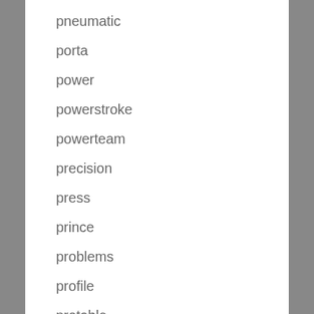pneumatic
porta
power
powerstroke
powerteam
precision
press
prince
problems
profile
protable
pull